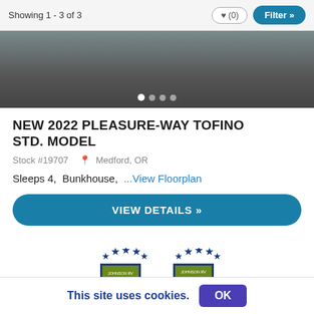Showing 1 - 3 of 3
[Figure (photo): Bottom portion of an RV/vehicle exterior in a garage, showing tires and bumper area, with image carousel dots below]
NEW 2022 PLEASURE-WAY TOFINO STD. MODEL
Stock #19707  Medford, OR
Sleeps 4,  Bunkhouse,  ...View Floorplan
VIEW DETAILS »
[Figure (logo): Johnson RV LIMITED FACTORY WARRANTY badge/shield with stars]
[Figure (logo): Johnson RV UP TO 70 POINT badge/shield with stars]
This site uses cookies.  OK